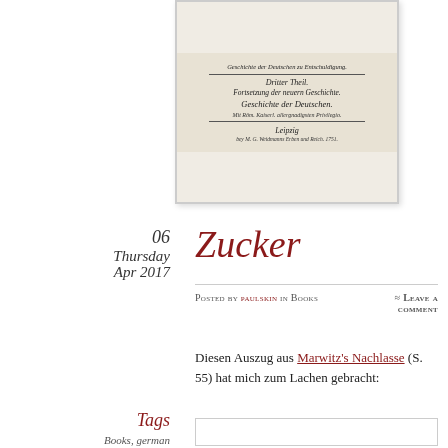[Figure (photo): Scanned title page of an old German book showing Gothic script text: Dritter Theil, Fortsetzung der neuern Geschichte, Geschichte der Deutschen, Leipzig, published by Weidmanns Erben und Reich, 1751]
06
Thursday
Apr 2017
Zucker
Posted by paulskin in Books
≈ Leave a comment
Diesen Auszug aus Marwitz's Nachlasse (S. 55) hat mich zum Lachen gebracht:
Tags
Books, german